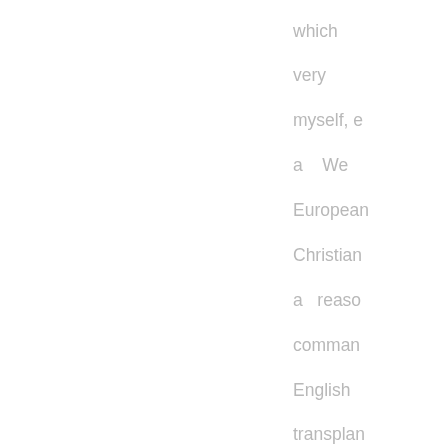which very myself, e a We European Christian a reaso comman English transplan to New How more i must it b an adol